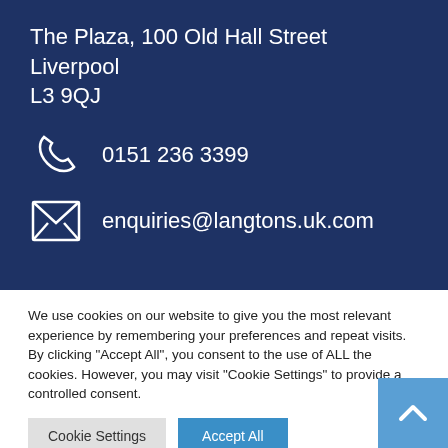The Plaza, 100 Old Hall Street
Liverpool
L3 9QJ
0151 236 3399
enquiries@langtons.uk.com
We use cookies on our website to give you the most relevant experience by remembering your preferences and repeat visits. By clicking “Accept All”, you consent to the use of ALL the cookies. However, you may visit "Cookie Settings" to provide a controlled consent.
Cookie Settings
Accept All